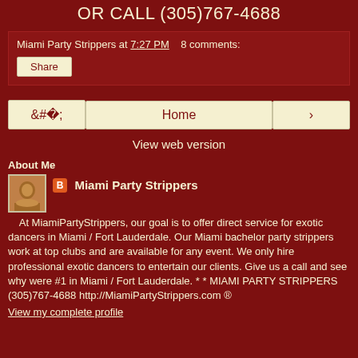OR CALL (305)767-4688
Miami Party Strippers at 7:27 PM   8 comments:
Share
‹   Home   ›
View web version
About Me
Miami Party Strippers
At MiamiPartyStrippers, our goal is to offer direct service for exotic dancers in Miami / Fort Lauderdale. Our Miami bachelor party strippers work at top clubs and are available for any event. We only hire professional exotic dancers to entertain our clients. Give us a call and see why were #1 in Miami / Fort Lauderdale. * * MIAMI PARTY STRIPPERS (305)767-4688 http://MiamiPartyStrippers.com ®
View my complete profile